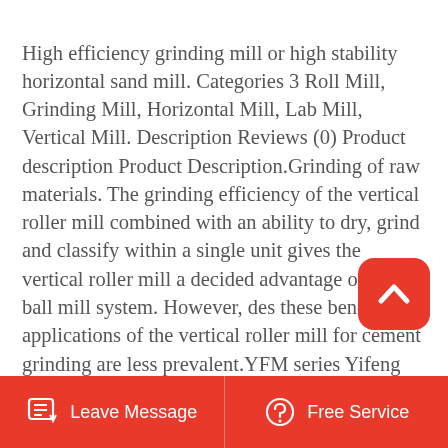High efficiency grinding mill or high stability horizontal sand mill. Categories 3 Roll Mill, Grinding Mill, Horizontal Mill, Lab Mill, Vertical Mill. Description Reviews (0) Product description Product Description.Grinding of raw materials. The grinding efficiency of the vertical roller mill combined with an ability to dry, grind and classify within a single unit gives the vertical roller mill a decided advantage over a ball mill system. However, des these benefits, applications of the vertical roller mill for cement grinding are less prevalent.YFM series Yifeng grinding mill is a new-type grinding mill developed by our company for decades, combining rolling, impacting and grinding to one. It is an ideal ultrafine ground calcium carbonate grinding mill for
[Figure (other): Red rounded square back-to-top button with white upward chevron arrow icon]
Leave Message   Free Service